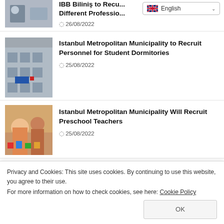[Figure (screenshot): Language selector dropdown showing English flag and 'English' text with chevron]
[Figure (photo): Two businesspeople shaking hands at a desk (partial, top-cropped)]
IBB Biliniş to Recru Different Professio...
26/08/2022
[Figure (photo): Apartment building exterior with balconies]
Istanbul Metropolitan Municipality to Recruit Personnel for Student Dormitories
25/08/2022
[Figure (photo): Teacher with preschool children doing crafts]
Istanbul Metropolitan Municipality Will Recruit Preschool Teachers
25/08/2022
[Figure (photo): Ministry of Treasury and Finance related image (partially visible)]
Ministry of Treasury and Finance to
Privacy and Cookies: This site uses cookies. By continuing to use this website, you agree to their use.
For more information on how to check cookies, see here: Cookie Policy
OK
[Figure (photo): Financial documents or papers on desk (partially visible at bottom)]
25/08/2022